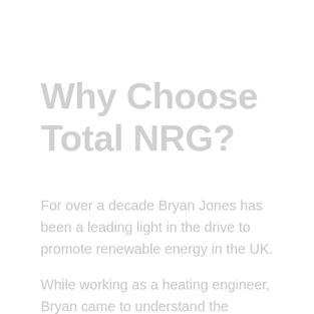Why Choose Total NRG?
For over a decade Bryan Jones has been a leading light in the drive to promote renewable energy in the UK.

While working as a heating engineer, Bryan came to understand the importance of the energy we use for modern life and the